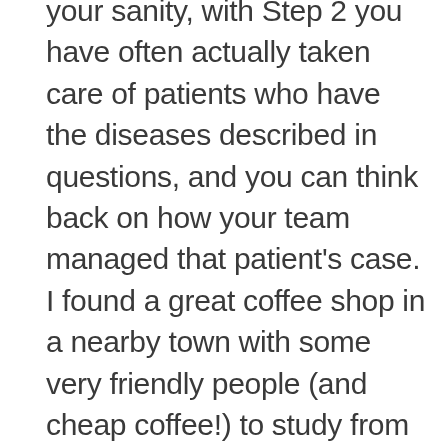your sanity, with Step 2 you have often actually taken care of patients who have the diseases described in questions, and you can think back on how your team managed that patient's case. I found a great coffee shop in a nearby town with some very friendly people (and cheap coffee!) to study from morning to evening, and the process of studying itself became a relatively peaceful journey. The week of the 2 exams itself was not too much fun—although it seemed like a good idea at the time to schedule both exams for one week, it turned out to not exactly be as smooth as I had hoped given all the travel—but it is a relief to know that both of these tests are done as I move into my away rotation and interview season.